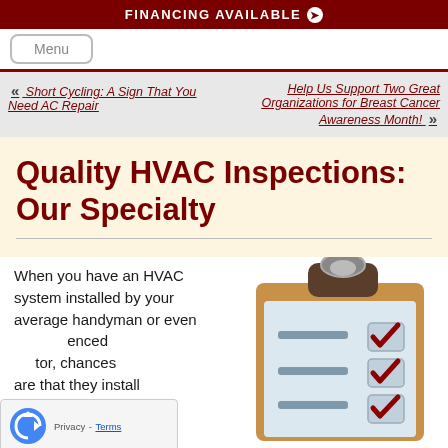FINANCING AVAILABLE
Menu
« Short Cycling: A Sign That You Need AC Repair
Help Us Support Two Great Organizations for Breast Cancer Awareness Month! »
Quality HVAC Inspections: Our Specialty
When you have an HVAC system installed by your average handyman or even [enced] [tor], chances are that they install
[Figure (illustration): Clipboard with red checkmarks illustration]